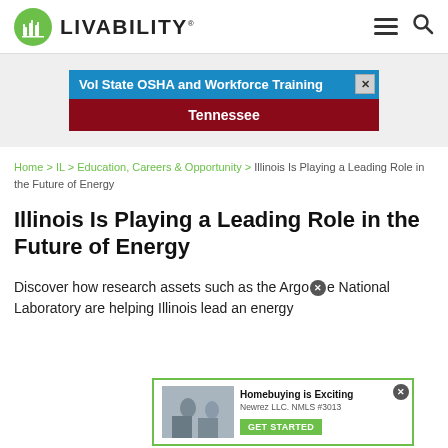LIVABILITY
[Figure (screenshot): Advertisement banner: 'Vol State OSHA and Workforce Training Tennessee']
Home > IL > Education, Careers & Opportunity > Illinois Is Playing a Leading Role in the Future of Energy
Illinois Is Playing a Leading Role in the Future of Energy
Discover how research assets such as the Argonne National Laboratory are helping Illinois lead an energy...
[Figure (screenshot): Floating advertisement: 'Homebuying is Exciting — Newrez LLC. NMLS #3013 — GET STARTED']